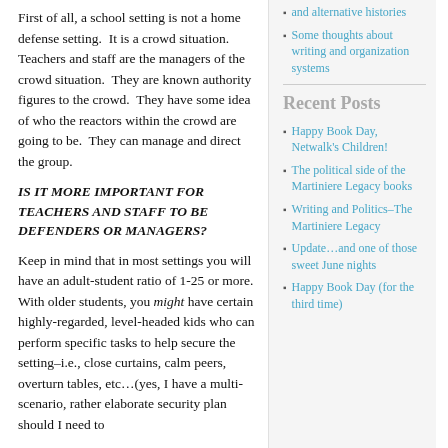First of all, a school setting is not a home defense setting.  It is a crowd situation.  Teachers and staff are the managers of the crowd situation.  They are known authority figures to the crowd.  They have some idea of who the reactors within the crowd are going to be.  They can manage and direct the group.
IS IT MORE IMPORTANT FOR TEACHERS AND STAFF TO BE DEFENDERS OR MANAGERS?
Keep in mind that in most settings you will have an adult-student ratio of 1-25 or more.  With older students, you might have certain highly-regarded, level-headed kids who can perform specific tasks to help secure the setting–i.e., close curtains, calm peers, overturn tables, etc…(yes, I have a multi-scenario, rather elaborate security plan should I need to
and alternative histories
Some thoughts about writing and organization systems
Recent Posts
Happy Book Day, Netwalk's Children!
The political side of the Martiniere Legacy books
Writing and Politics–The Martiniere Legacy
Update…and one of those sweet June nights
Happy Book Day (for the third time)